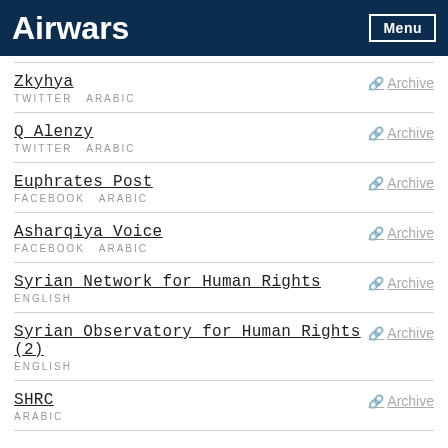Airwars
Zkyhya
TWITTER ARABIC
Archive
Q_Alenzy
TWITTER ARABIC
Archive
Euphrates Post
FACEBOOK ARABIC
Archive
Asharqiya Voice
FACEBOOK ARABIC
Archive
Syrian Network for Human Rights
ENGLISH
Archive
Syrian Observatory for Human Rights (2)
ENGLISH
Archive
SHRC
ARABIC
Archive